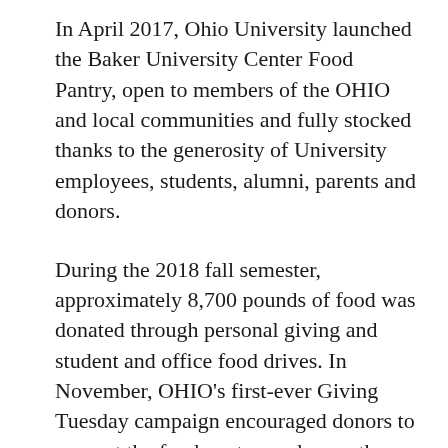In April 2017, Ohio University launched the Baker University Center Food Pantry, open to members of the OHIO and local communities and fully stocked thanks to the generosity of University employees, students, alumni, parents and donors.
During the 2018 fall semester, approximately 8,700 pounds of food was donated through personal giving and student and office food drives. In November, OHIO’s first-ever Giving Tuesday campaign encouraged donors to support the food pantry, and more than 260 donors gave over $15,000 to help Bobcats in need.